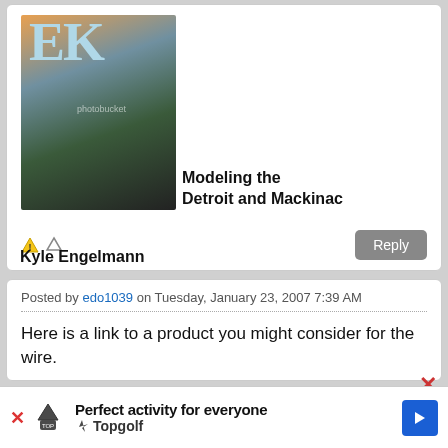[Figure (photo): Avatar image with 'EK' letters overlaid on a house/building aerial photo background with photobucket watermark]
Kyle Engelmann Modeling the Detroit and Mackinac
[Figure (other): Reply button and action icons (warning icon, up arrow icon)]
Posted by edo1039 on Tuesday, January 23, 2007 7:39 AM
Here is a link to a product you might consider for the wire.
[Figure (other): Advertisement bar: Perfect activity for everyone - Topgolf with logo and arrow]